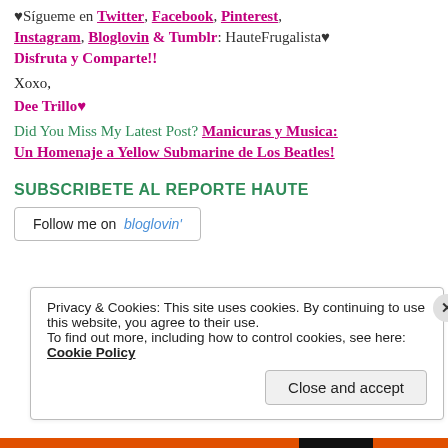♥Sígueme en Twitter, Facebook, Pinterest, Instagram, Bloglovin & Tumblr: HauteFrugalista♥ Disfruta y Comparte!!
Xoxo,
Dee Trillo♥
Did You Miss My Latest Post? Manicuras y Musica: Un Homenaje a Yellow Submarine de Los Beatles!
SUBSCRIBETE AL REPORTE HAUTE
[Figure (other): Follow me on bloglovin' button]
Privacy & Cookies: This site uses cookies. By continuing to use this website, you agree to their use. To find out more, including how to control cookies, see here: Cookie Policy
Close and accept